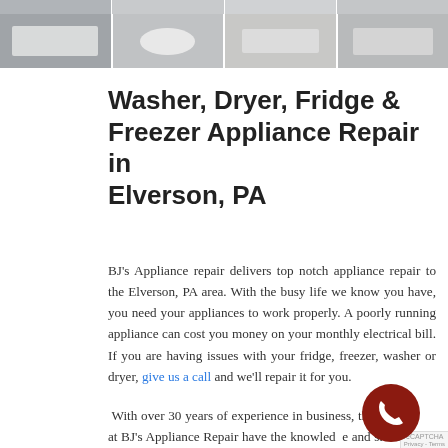[Figure (photo): Grid of appliance photos (washers, dryers, fridges) shown as a strip of rectangular image tiles at the top of the page]
Washer, Dryer, Fridge & Freezer Appliance Repair in Elverson, PA
BJ's Appliance repair delivers top notch appliance repair to the Elverson, PA area. With the busy life we know you have, you need your appliances to work properly. A poorly running appliance can cost you money on your monthly electrical bill. If you are having issues with your fridge, freezer, washer or dryer, give us a call and we'll repair it for you.
With over 30 years of experience in business, the experts at BJ's Appliance Repair have the knowledge and skills to repair your Elverson, PA refrigerator or freezer. You can rely on us to get the job done right.